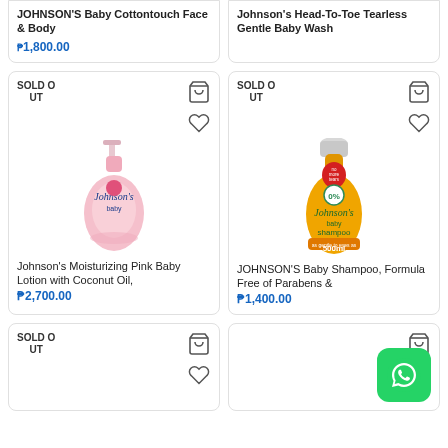JOHNSON'S Baby Cottontouch Face & Body
₱1,800.00
Johnson's Head-To-Toe Tearless Gentle Baby Wash
[Figure (photo): Johnson's Moisturizing Pink Baby Lotion bottle with pump dispenser, pink color, SOLD OUT badge]
Johnson's Moisturizing Pink Baby Lotion with Coconut Oil,
₱2,700.00
[Figure (photo): Johnson's Baby Shampoo 500ml orange bottle, no more tears formula, SOLD OUT badge]
JOHNSON'S Baby Shampoo, Formula Free of Parabens &
₱1,400.00
[Figure (photo): Bottom left card with SOLD OUT badge, partial view]
[Figure (other): WhatsApp icon overlay on bottom right card]